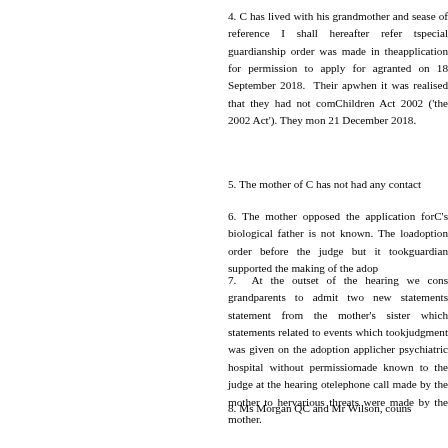4. C has lived with his grandmother and s... ease of reference I shall hereafter refer t... special guardianship order was made in the... application for permission to apply for a... granted on 18 September 2018. Their ap... when it was realised that they had not com... Children Act 2002 ('the 2002 Act'). They m... on 21 December 2018.
5. The mother of C has not had any contact...
6. The mother opposed the application for... C's biological father is not known. The lo... adoption order before the judge but it took... guardian supported the making of the adop...
7. At the outset of the hearing we cons... grandparents to admit two new statements... statement from the mother's sister which... statements related to events which took... judgment was given on the adoption applic... her psychiatric hospital without permissio... made known to the judge at the hearing o... telephone call made by the mother to her... various threats were made by the mother.
8. Ms Morgan QC and Mr Wilson, couns...